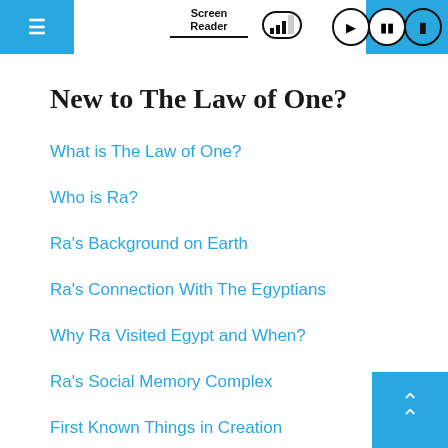Screen Reader
New to The Law of One?
What is The Law of One?
Who is Ra?
Ra's Background on Earth
Ra's Connection With The Egyptians
Why Ra Visited Egypt and When?
Ra's Social Memory Complex
First Known Things in Creation